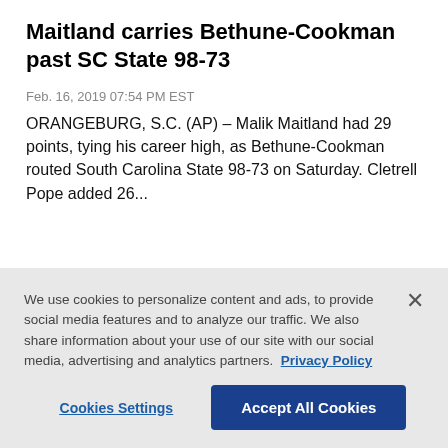Maitland carries Bethune-Cookman past SC State 98-73
Feb. 16, 2019 07:54 PM EST
ORANGEBURG, S.C. (AP) – Malik Maitland had 29 points, tying his career high, as Bethune-Cookman routed South Carolina State 98-73 on Saturday. Cletrell Pope added 26...
We use cookies to personalize content and ads, to provide social media features and to analyze our traffic. We also share information about your use of our site with our social media, advertising and analytics partners.  Privacy Policy
Cookies Settings  Accept All Cookies